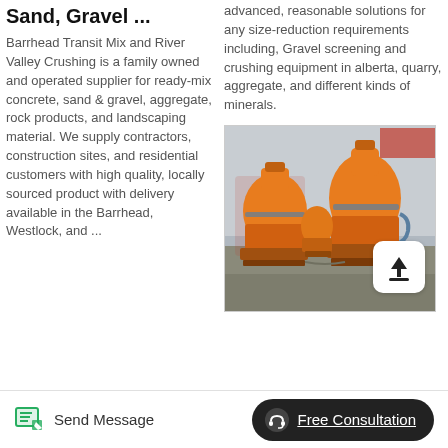Sand, Gravel ...
Barrhead Transit Mix and River Valley Crushing is a family owned and operated supplier for ready-mix concrete, sand & gravel, aggregate, rock products, and landscaping material. We supply contractors, construction sites, and residential customers with high quality, locally sourced product with delivery available in the Barrhead, Westlock, and ...
advanced, reasonable solutions for any size-reduction requirements including, Gravel screening and crushing equipment in alberta, quarry, aggregate, and different kinds of minerals.
[Figure (photo): Industrial orange crushing/grinding machinery in a factory setting, with an upload icon button overlay in the bottom right corner.]
Send Message
Free Consultation